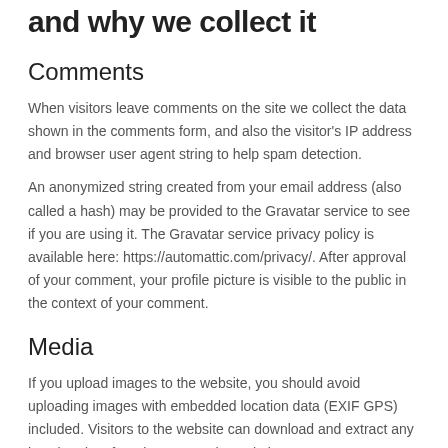and why we collect it
Comments
When visitors leave comments on the site we collect the data shown in the comments form, and also the visitor's IP address and browser user agent string to help spam detection.
An anonymized string created from your email address (also called a hash) may be provided to the Gravatar service to see if you are using it. The Gravatar service privacy policy is available here: https://automattic.com/privacy/. After approval of your comment, your profile picture is visible to the public in the context of your comment.
Media
If you upload images to the website, you should avoid uploading images with embedded location data (EXIF GPS) included. Visitors to the website can download and extract any location data from images on the website.